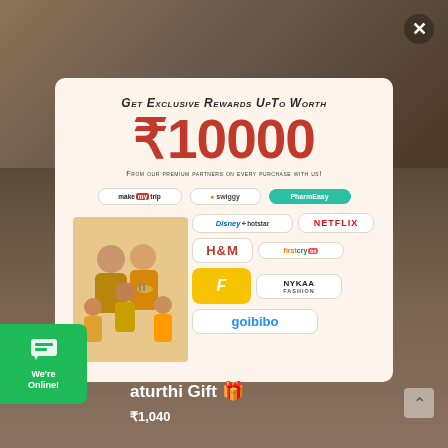[Figure (photo): Background showing a warm-toned room interior with plants and furniture, partially visible behind a modal popup]
[Figure (infographic): Promotional modal popup on cream/beige background. Title: 'Get Exclusive Rewards UpTo Worth ₹10000'. Subtitle: 'From our premium partners on every purchase with us!' Shows logos of: MakeMyTrip, Swiggy, PharmEasy, Disney+ Hotstar, Netflix, H&M, FirstCry, Flipkart, Nykaa Fashion, Goibibo. Right side shows family illustration.]
Get Exclusive Rewards UpTo Worth ₹10000
From our premium partners on every purchase with us!
[Figure (photo): Family photo showing elderly couple, son, and two young girls in Indian festive attire]
[Figure (infographic): Green chat widget showing speech bubble icon with text 'We're Online!']
aturthi Gift
₹1,040